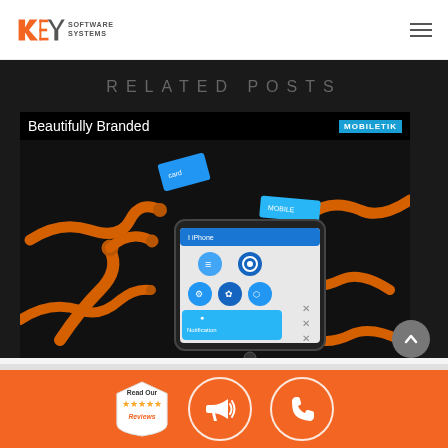[Figure (logo): KEY Software Systems logo — orange/grey geometric key icon with text 'KEY SOFTWARE SYSTEMS']
RELATED POSTS
[Figure (photo): Card showing 'Beautifully Branded' with MOBILETIK badge; background photo of orange industrial robotic arms surrounding a smartphone displaying a mobile app UI with blue icon tiles and notification screens]
[Figure (infographic): Orange footer bar with three icons: a star-ratings 'Read Our Reviews' badge, a megaphone/announcement circle icon, and a phone circle icon]